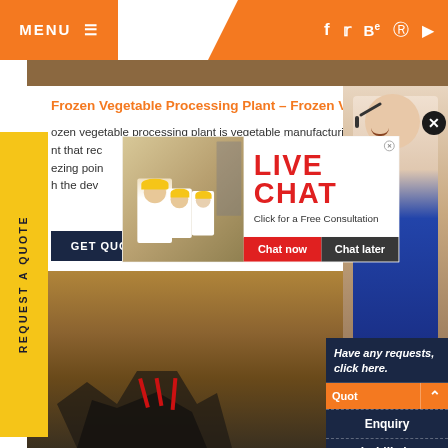MENU ≡
[Figure (screenshot): Website screenshot showing a frozen vegetable processing plant page with orange menu header, social media icons (f, t, Be, Pinterest, YouTube), a live chat popup overlay with workers in yellow helmets, chat now and chat later buttons, a yellow REQUEST A QUOTE sidebar, a right side panel with Have any requests click here, Quote, Enquiry, and drobilkalm sections, and background earth/machinery imagery.]
Frozen Vegetable Processing Plant – Frozen Vegetables ...
ozen vegetable processing plant is vegetable manufacturing nt that rec ezing poin h the dev
GET QUOT
LIVE CHAT
Click for a Free Consultation
Chat now
Chat later
REQUEST A QUOTE
Have any requests, click here.
Quot
Enquiry
drobilkalm